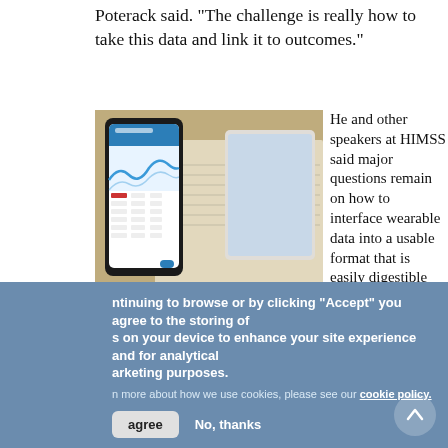Poterack said. "The challenge is really how to take this data and link it to outcomes."
[Figure (photo): Photo of a smartphone displaying a health app with charts and data, alongside what appears to be a medical device on papers]
He and other speakers at HIMSS said major questions remain on how to interface wearable data into a usable format that is easily digestible for clinicians and the electronic medical record. An excellent example of how wearables, health apps and Bluetooth medical monitoring devices might be integrated into mainstream patient care is being
[Figure (infographic): Social media sharing sidebar with email, Facebook, Twitter, LinkedIn, and Google+ buttons]
ntinuing to browse or by clicking "Accept" you agree to the storing of s on your device to enhance your site experience and for analytical arketing purposes.
n more about how we use cookies, please see our cookie policy.
agree   No, thanks